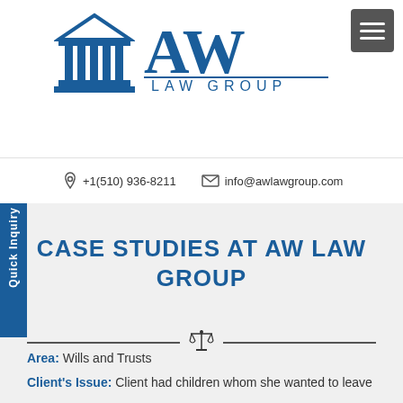[Figure (logo): AW Law Group logo with classical building/columns icon on the left and 'AW LAW GROUP' text on the right in dark blue]
+1(510) 936-8211   info@awlawgroup.com
CASE STUDIES AT AW LAW GROUP
Area: Wills and Trusts
Client's Issue: Client had children whom she wanted to leave